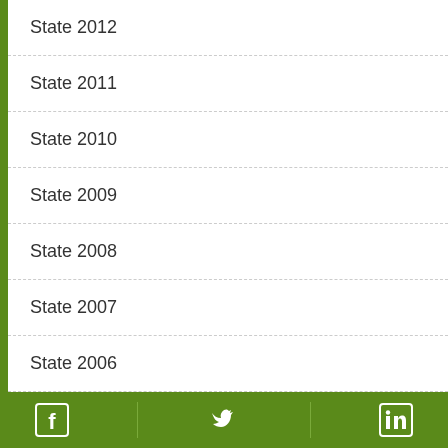State 2012
State 2011
State 2010
State 2009
State 2008
State 2007
State 2006
State 2005
State 2004
Facebook | Twitter | LinkedIn